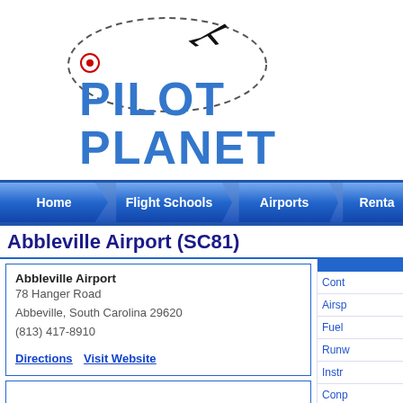[Figure (logo): Pilot Planet logo with airplane silhouette and dashed oval flight path, red target icon, blue distressed text reading PILOT PLANET]
Home | Flight Schools | Airports | Renta
Abbleville Airport (SC81)
Abbleville Airport
78 Hanger Road
Abbeville, South Carolina 29620
(813) 417-8910

Directions  Visit Website
Cont
Airsp
Fuel
Runw
Instr
Conp
Engi
SIDA
Airp